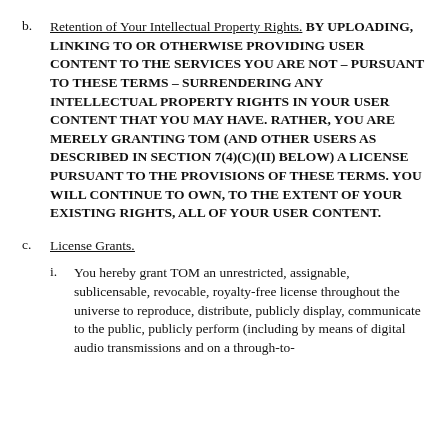b. Retention of Your Intellectual Property Rights. BY UPLOADING, LINKING TO OR OTHERWISE PROVIDING USER CONTENT TO THE SERVICES YOU ARE NOT – PURSUANT TO THESE TERMS – SURRENDERING ANY INTELLECTUAL PROPERTY RIGHTS IN YOUR USER CONTENT THAT YOU MAY HAVE. RATHER, YOU ARE MERELY GRANTING TOM (AND OTHER USERS AS DESCRIBED IN SECTION 7(4)(c)(ii) BELOW) A LICENSE PURSUANT TO THE PROVISIONS OF THESE TERMS. YOU WILL CONTINUE TO OWN, TO THE EXTENT OF YOUR EXISTING RIGHTS, ALL OF YOUR USER CONTENT.
c. License Grants.
i. You hereby grant TOM an unrestricted, assignable, sublicensable, revocable, royalty-free license throughout the universe to reproduce, distribute, publicly display, communicate to the public, publicly perform (including by means of digital audio transmissions and on a through-to-